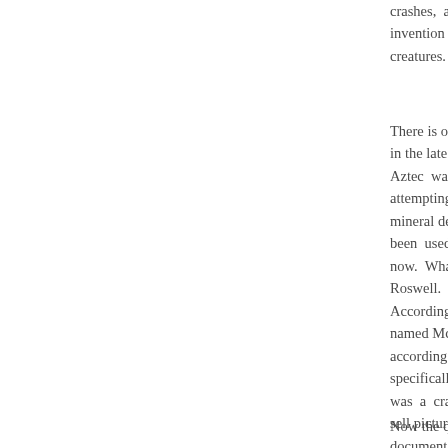crashes, all of them, of invention by the participants, creatures.
There is one, though, that in the late 1940s, and the Aztec was a hoax created attempting to sell some mineral detector and were been used to create the now. What is important a Roswell.
According to Scott Rams named McLaughlin, had p according to documentat specifically to Aztec. This was a crash at Aztec, on sell pictures that he alleg document was dated Octo
Now the question seems